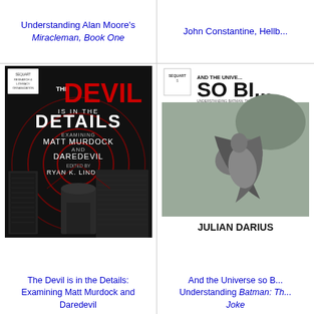Understanding Alan Moore's Miracleman, Book One
John Constantine, Hellb...
[Figure (illustration): Book cover: The Devil is in the Details: Examining Matt Murdock and Daredevil, edited by Ryan K. Lindsay. Dark cover with cityscape and red spiral graphic.]
[Figure (illustration): Book cover: And the Universe so Big: Understanding Batman: The Killing Joke by Julian Darius. Grayscale cover showing Batman figure.]
The Devil is in the Details: Examining Matt Murdock and Daredevil
And the Universe so Big: Understanding Batman: The Killing Joke